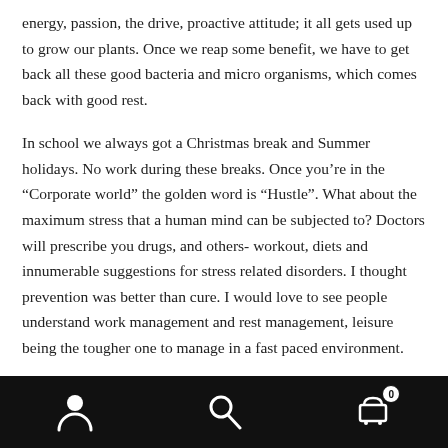energy, passion, the drive, proactive attitude; it all gets used up to grow our plants. Once we reap some benefit, we have to get back all these good bacteria and micro organisms, which comes back with good rest.
In school we always got a Christmas break and Summer holidays. No work during these breaks. Once you’re in the “Corporate world” the golden word is “Hustle”. What about the maximum stress that a human mind can be subjected to? Doctors will prescribe you drugs, and others- workout, diets and innumerable suggestions for stress related disorders. I thought prevention was better than cure. I would love to see people understand work management and rest management, leisure being the tougher one to manage in a fast paced environment.
Navigation bar with person, search, and cart (0) icons